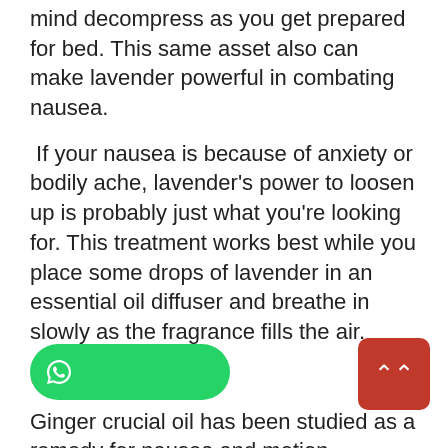mind decompress as you get prepared for bed. This same asset also can make lavender powerful in combating nausea.
If your nausea is because of anxiety or bodily ache, lavender's power to loosen up is probably just what you're looking for. This treatment works best while you place some drops of lavender in an essential oil diffuser and breathe in slowly as the fragrance fills the air.
Ginger oil
Ginger crucial oil has been studied as a remedy for nausea and motion sickness. People swear by it, and the research is of the same opinion that it works subtle into the air with an oil diffuse or rubbed onto stress points at your forehead and wrists, or maybe rubbed directly to your